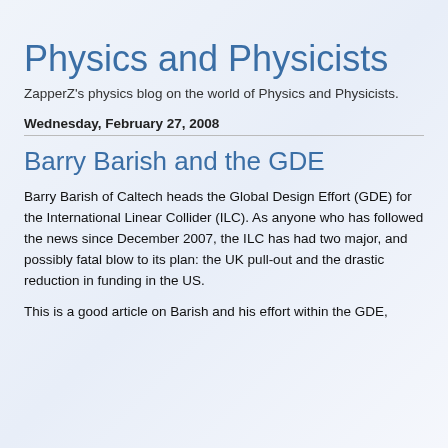Physics and Physicists
ZapperZ's physics blog on the world of Physics and Physicists.
Wednesday, February 27, 2008
Barry Barish and the GDE
Barry Barish of Caltech heads the Global Design Effort (GDE) for the International Linear Collider (ILC). As anyone who has followed the news since December 2007, the ILC has had two major, and possibly fatal blow to its plan: the UK pull-out and the drastic reduction in funding in the US.
This is a good article on Barish and his effort within the GDE,